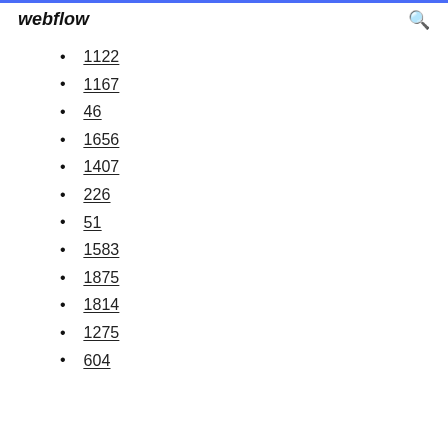webflow
1122
1167
46
1656
1407
226
51
1583
1875
1814
1275
604